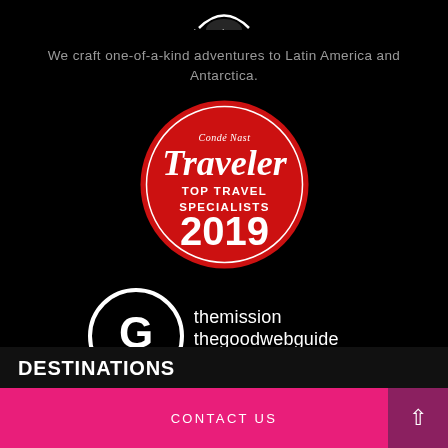[Figure (logo): Partial circular logo arc at top center]
We craft one-of-a-kind adventures to Latin America and Antarctica.
[Figure (logo): Condé Nast Traveler Top Travel Specialists 2019 red circular badge]
[Figure (logo): The Mission The Good Web Guide Category Winner 2018 badge with G logo circle]
DESTINATIONS
CONTACT US